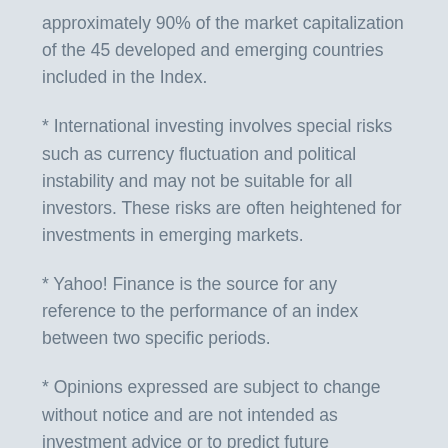approximately 90% of the market capitalization of the 45 developed and emerging countries included in the Index.
* International investing involves special risks such as currency fluctuation and political instability and may not be suitable for all investors. These risks are often heightened for investments in emerging markets.
* Yahoo! Finance is the source for any reference to the performance of an index between two specific periods.
* Opinions expressed are subject to change without notice and are not intended as investment advice or to predict future performance.
* Economic forecasts set forth may not develop as predicted and there can be no guarantee that strategies